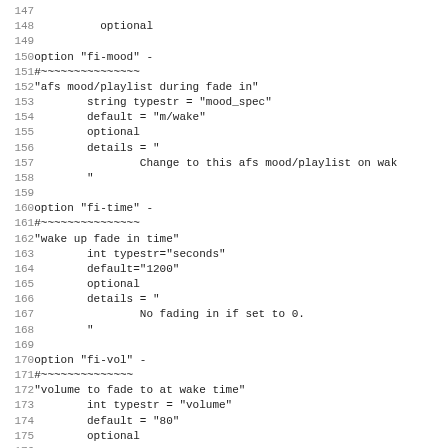Code listing lines 147-179 showing option definitions for fi-mood, fi-time, fi-vol, and section for snooze mode